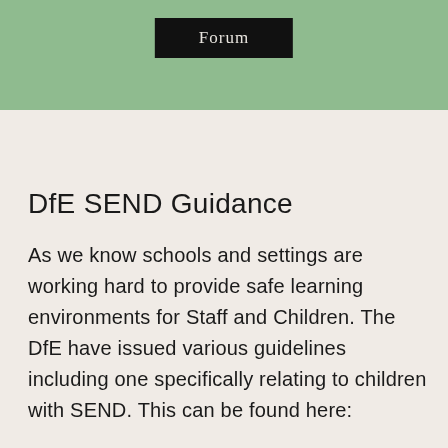Forum
[Figure (logo): A circular logo with a willow tree illustration in green on a white background with a dark border]
DfE SEND Guidance
As we know schools and settings are working hard to provide safe learning environments for Staff and Children.  The DfE have issued various guidelines including one specifically relating to children with SEND.  This can be found here: